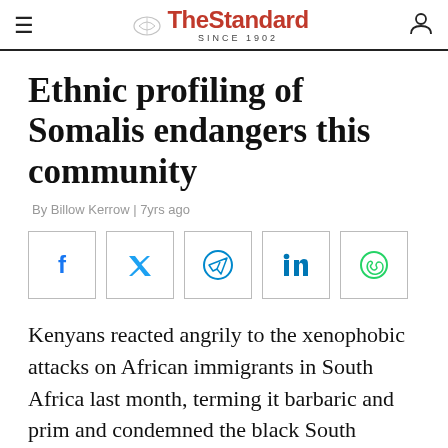The Standard SINCE 1902
Ethnic profiling of Somalis endangers this community
By Billow Kerrow | 7yrs ago
[Figure (other): Social media share buttons: Facebook, Twitter, Telegram, LinkedIn, WhatsApp]
Kenyans reacted angrily to the xenophobic attacks on African immigrants in South Africa last month, terming it barbaric and prim and condemned the black South Africans who savagely killed and maimed their brothers